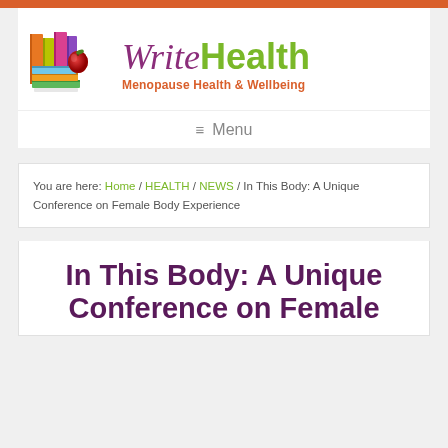[Figure (logo): WriteHealth website logo with stacked colorful books and apple image on left, 'Write' in purple italic and 'Health' in green bold on right, with tagline 'Menopause Health & Wellbeing' in orange below]
≡  Menu
You are here: Home / HEALTH / NEWS / In This Body: A Unique Conference on Female Body Experience
In This Body: A Unique Conference on Female